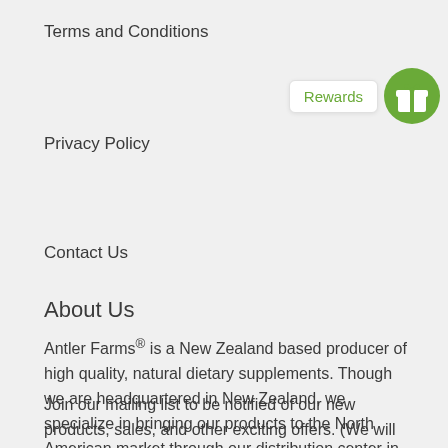Terms and Conditions
[Figure (infographic): Green circular rewards icon with a gift box symbol, next to a white pill-shaped label saying 'Rewards' in green text]
Privacy Policy
Contact Us
About Us
Antler Farms® is a New Zealand based producer of high quality, natural dietary supplements. Though we are headquartered in New Zealand, we specialize in bringing our products to the North American market through our distribution center in the USA.
Join our mailing list to be notified of our new products, sales, and other exciting offers. (We will never spam or sell our customer list.)